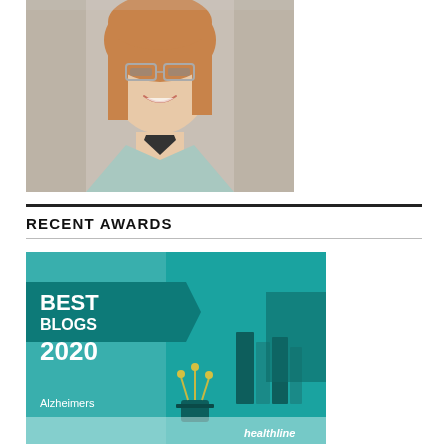[Figure (photo): Headshot of a smiling woman with red-blonde shoulder-length hair, glasses, wearing a light teal/mint blazer over a dark top. Professional portrait photo.]
RECENT AWARDS
[Figure (illustration): Healthline Best Blogs 2020 Alzheimers award badge. Teal background with white text reading BEST BLOGS 2020 and Alzheimers. Decorative illustrated books and a plant in a pot. Healthline logo in bottom right.]